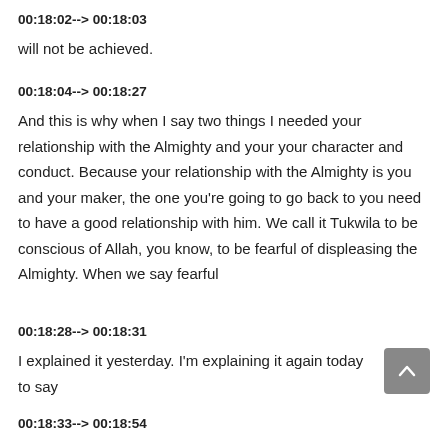00:18:02--> 00:18:03
will not be achieved.
00:18:04--> 00:18:27
And this is why when I say two things I needed your relationship with the Almighty and your your character and conduct. Because your relationship with the Almighty is you and your maker, the one you're going to go back to you need to have a good relationship with him. We call it Tukwila to be conscious of Allah, you know, to be fearful of displeasing the Almighty. When we say fearful
00:18:28--> 00:18:31
I explained it yesterday. I'm explaining it again today to say
00:18:33--> 00:18:54